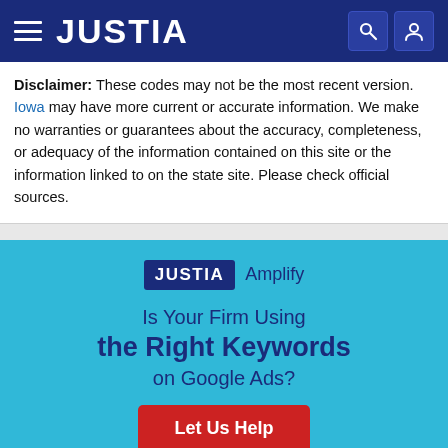JUSTIA
Disclaimer: These codes may not be the most recent version. Iowa may have more current or accurate information. We make no warranties or guarantees about the accuracy, completeness, or adequacy of the information contained on this site or the information linked to on the state site. Please check official sources.
[Figure (infographic): Justia Amplify advertisement banner asking 'Is Your Firm Using the Right Keywords on Google Ads?' with a red 'Let Us Help' button and illustrated figure with question mark speech bubbles below.]